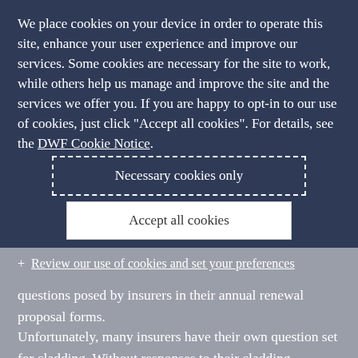We place cookies on your device in order to operate this site, enhance your user experience and improve our services. Some cookies are necessary for the site to work, while others help us manage and improve the site and the services we offer you. If you are happy to opt-in to our use of cookies, just click "Accept all cookies". For details, see the DWF Cookie Notice.
Necessary cookies only
Accept all cookies
+ Review our use of cookies and set your preferences
questions posed by insurers in their annual renewal proposal forms.
Unfortunately, many insurers have their own question set for cladding. Without responses to their cladding